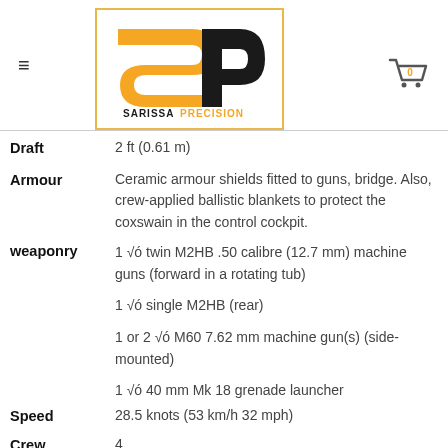Sarissa Precision — navigation header with logo and cart
Draft: 2 ft (0.61 m)
Armour: Ceramic armour shields fitted to guns, bridge. Also, crew-applied ballistic blankets to protect the coxswain in the control cockpit.
weaponry: 1 √ó twin M2HB .50 calibre (12.7 mm) machine guns (forward in a rotating tub)
1 √ó single M2HB (rear)
1 or 2 √ó M60 7.62 mm machine gun(s) (side-mounted)
1 √ó 40 mm Mk 18 grenade launcher
Speed: 28.5 knots (53 km/h 32 mph)
Crew: 4